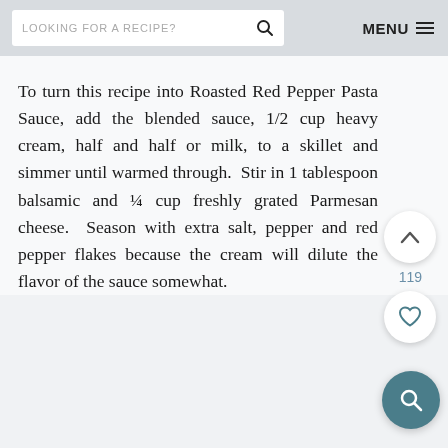LOOKING FOR A RECIPE?   MENU
To turn this recipe into Roasted Red Pepper Pasta Sauce, add the blended sauce, 1/2 cup heavy cream, half and half or milk, to a skillet and simmer until warmed through.  Stir in 1 tablespoon balsamic and ¼ cup freshly grated Parmesan cheese.  Season with extra salt, pepper and red pepper flakes because the cream will dilute the flavor of the sauce somewhat.